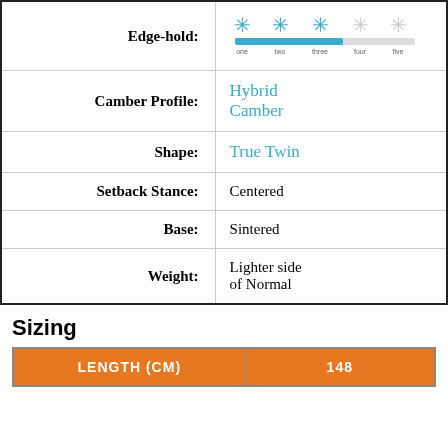| Attribute | Value |
| --- | --- |
| Edge-hold: | [rating bar graphic] |
| Camber Profile: | Hybrid Camber |
| Shape: | True Twin |
| Setback Stance: | Centered |
| Base: | Sintered |
| Weight: | Lighter side of Normal |
Sizing
| LENGTH (CM) | 148 |
| --- | --- |